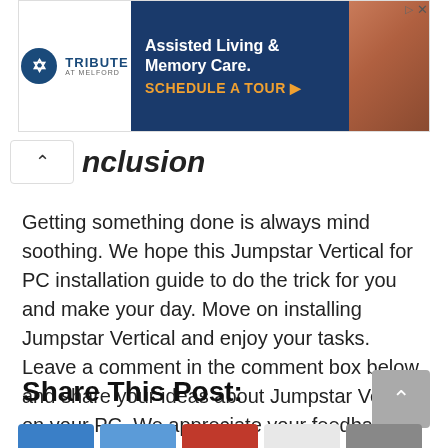[Figure (screenshot): Advertisement banner for Tribute at Melford Assisted Living & Memory Care with a Schedule a Tour call to action.]
nclusion
Getting something done is always mind soothing. We hope this Jumpstar Vertical for PC installation guide to do the trick for you and make your day. Move on installing Jumpstar Vertical and enjoy your tasks. Leave a comment in the comment box below and share your ideas about Jumpstar Vertical on your PC. We appreciate your feedback on doing better.
Share This Post: